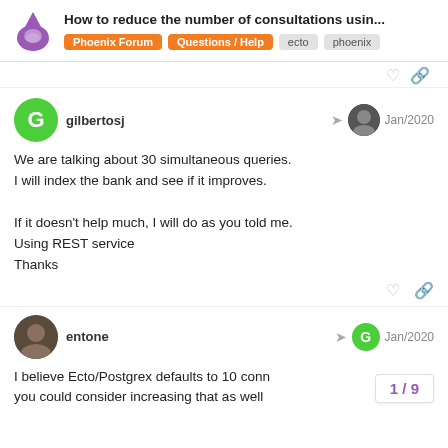How to reduce the number of consultations usin... | Phoenix Forum | Questions / Help | ecto | phoenix
gilbertosj
Jan/2020
We are talking about 30 simultaneous queries.
I will index the bank and see if it improves.
If it doesn't help much, I will do as you told me.
Using REST service
Thanks
entone
Jan/2020
I believe Ecto/Postgrex defaults to 10 conn
you could consider increasing that as well
1 / 9